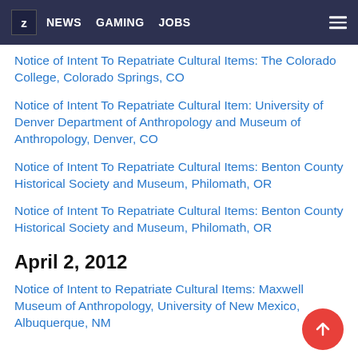Z NEWS GAMING JOBS
Notice of Intent To Repatriate Cultural Items: The Colorado College, Colorado Springs, CO
Notice of Intent To Repatriate Cultural Item: University of Denver Department of Anthropology and Museum of Anthropology, Denver, CO
Notice of Intent To Repatriate Cultural Items: Benton County Historical Society and Museum, Philomath, OR
Notice of Intent To Repatriate Cultural Items: Benton County Historical Society and Museum, Philomath, OR
April 2, 2012
Notice of Intent to Repatriate Cultural Items: Maxwell Museum of Anthropology, University of New Mexico, Albuquerque, NM